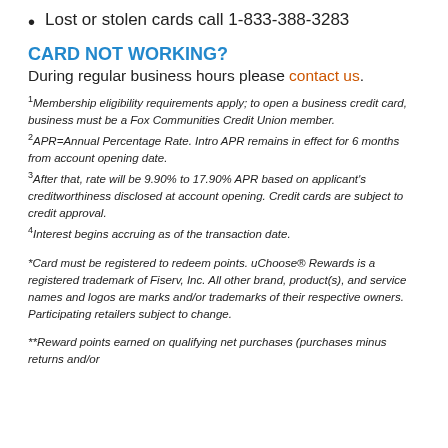Lost or stolen cards call 1-833-388-3283
CARD NOT WORKING?
During regular business hours please contact us.
1 Membership eligibility requirements apply; to open a business credit card, business must be a Fox Communities Credit Union member.
2 APR=Annual Percentage Rate. Intro APR remains in effect for 6 months from account opening date.
3 After that, rate will be 9.90% to 17.90% APR based on applicant's creditworthiness disclosed at account opening. Credit cards are subject to credit approval.
4 Interest begins accruing as of the transaction date.
*Card must be registered to redeem points. uChoose® Rewards is a registered trademark of Fiserv, Inc. All other brand, product(s), and service names and logos are marks and/or trademarks of their respective owners. Participating retailers subject to change.
**Reward points earned on qualifying net purchases (purchases minus returns and/or